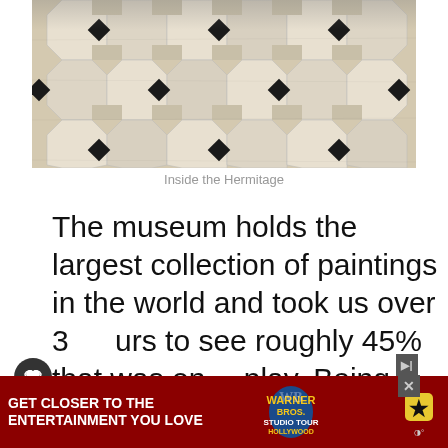[Figure (photo): Close-up photo of ornate mosaic tile floor inside the Hermitage museum, showing a geometric pattern of white/beige and black tiles in interlocking diamond and octagon shapes.]
Inside the Hermitage
The museum holds the largest collection of paintings in the world and took us over 3 hours to see roughly 45% that was on display. Being such a large collection, the work is spread across 6 buildings; Winter [Small Hermitage, Old Hermitage, New Hermitage, General Staff Building and Hermitage Theatre